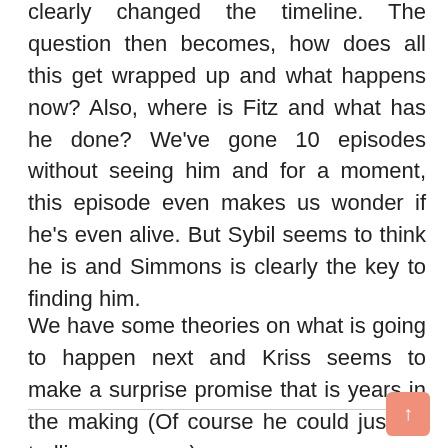clearly changed the timeline. The question then becomes, how does all this get wrapped up and what happens now? Also, where is Fitz and what has he done? We've gone 10 episodes without seeing him and for a moment, this episode even makes us wonder if he's even alive. But Sybil seems to think he is and Simmons is clearly the key to finding him.
We have some theories on what is going to happen next and Kriss seems to make a surprise promise that is years in the making (Of course he could just be trolling everyone).